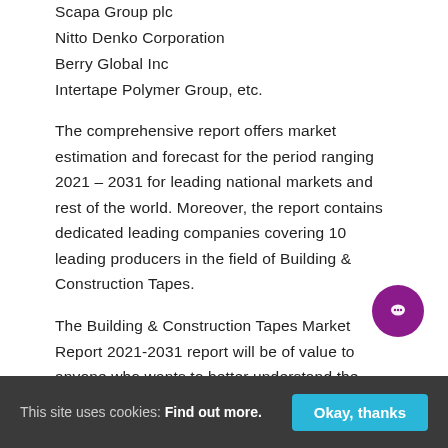Scapa Group plc
Nitto Denko Corporation
Berry Global Inc
Intertape Polymer Group, etc.
The comprehensive report offers market estimation and forecast for the period ranging 2021 – 2031 for leading national markets and rest of the world. Moreover, the report contains dedicated leading companies covering 10 leading producers in the field of Building & Construction Tapes.
The Building & Construction Tapes Market Report 2021-2031 report will be of value to anyone who wants to better understand the market and its
This site uses cookies: Find out more.  Okay, thanks